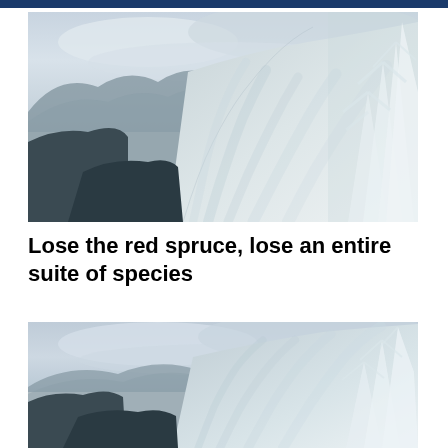[Figure (photo): Aerial or ridgeline view of snow-covered mountain slopes with frost-laden spruce trees in the foreground and misty mountain ranges in the background under a cloudy sky.]
Lose the red spruce, lose an entire suite of species
[Figure (photo): Second view of the same snow-covered mountain slopes with frost-laden spruce trees, similar panoramic ridgeline perspective under overcast skies.]